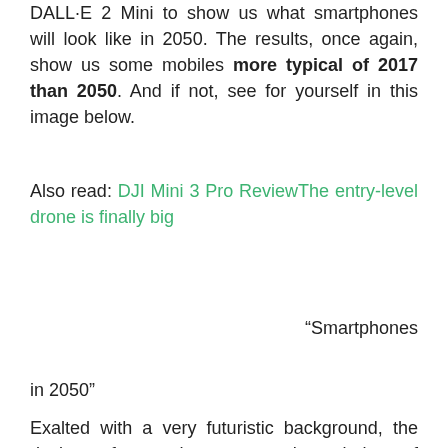DALL·E 2 Mini to show us what smartphones will look like in 2050. The results, once again, show us some mobiles more typical of 2017 than 2050. And if not, see for yourself in this image below.
Also read: DJI Mini 3 Pro ReviewThe entry-level drone is finally big
“Smartphones
in 2050”
Exalted with a very futuristic background, the designs of smartphones as such remind us of the aesthetics that mobiles began to break from 2017-2018, since until then